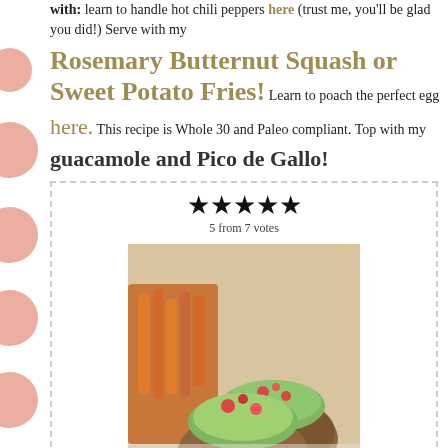with: learn to handle hot chili peppers here (trust me, you'll be glad you did!) Serve with my Rosemary Butternut Squash or Sweet Potato Fries! Learn to poach the perfect egg here. This recipe is Whole 30 and Paleo compliant. Top with my guacamole and Pico de Gallo!
[Figure (photo): Recipe card with 5-star rating (5 from 7 votes), photo of Jalapeño Turkey Burgers topped with guacamole and pico de gallo served with sweet potato fries, Print button, recipe title 'Jalapeño Turkey Burgers!', and Prep Time section.]